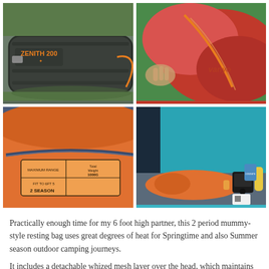[Figure (photo): Vango Zenith 200 sleeping bag packed in its carry bag on grass, showing orange 'ZENITH 200' branding on dark grey bag]
[Figure (photo): Close-up of red/orange sleeping bag material with orange zipper and Vango branding, being held by a hand]
[Figure (photo): Close-up of sleeping bag interior label showing '2 SEASON' and 'Total Weight' specifications on orange fabric]
[Figure (photo): Orange sleeping bag laid out inside a tent with blue walls, next to camping accessories including a speaker and snacks]
Practically enough time for my 6 foot high partner, this 2 period mummy-style resting bag uses great degrees of heat for Springtime and also Summer season outdoor camping journeys.
It includes a detachable whized mesh layer over the head, which maintains pests away, making it perfect for those that wish to bivvy...